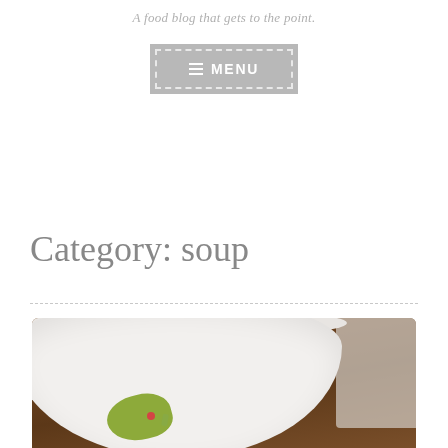A food blog that gets to the point.
≡ MENU
Category: soup
[Figure (photo): Photo of a white bowl of soup on a wooden table, with chopsticks resting across the bowl and a lime garnish inside the bowl. A dark bottle is visible in the upper left background.]